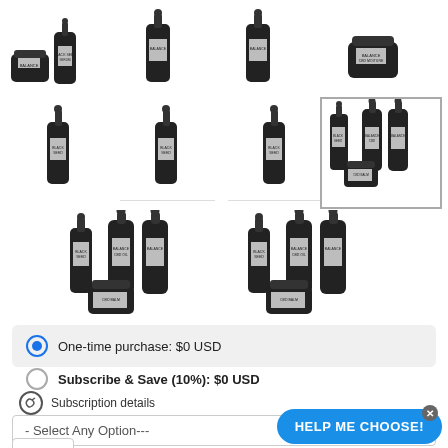[Figure (photo): Grid of product images showing skincare/CBD serum bottles and jars in various configurations. Top row: 4 thumbnail images. Middle row: 4 thumbnail images, rightmost highlighted with border. Bottom row: 2 larger thumbnail images of product bundles.]
One-time purchase: $0 USD
Subscribe & Save (10%): $0 USD
Subscription details
- Select Any Option---
1
HELP ME CHOOSE!